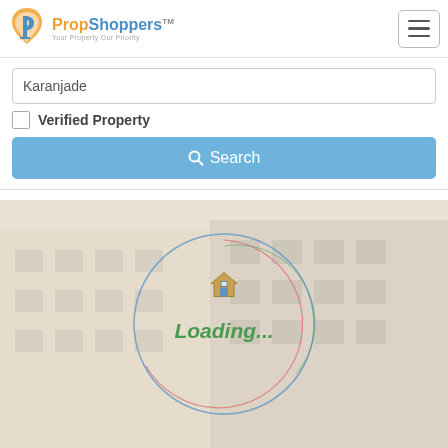[Figure (logo): PropShoppers logo with golden P icon and blue/orange text, tagline 'Your Property Our Priority']
[Figure (screenshot): Hamburger menu button (three horizontal lines) in a rounded rectangle border]
Karanjade
Verified Property
Search
[Figure (photo): Multi-story residential apartment building exterior, beige/cream colored, semi-transparent overlay with loading spinner]
Loading...